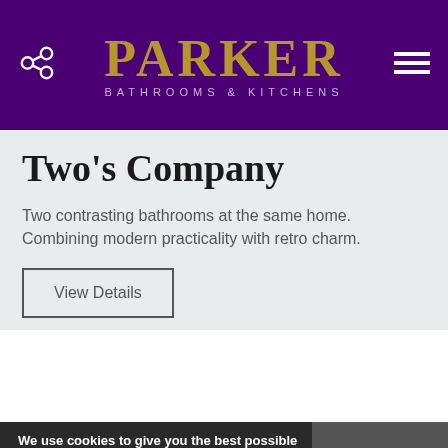PARKER BATHROOMS & KITCHENS
Two's Company
Two contrasting bathrooms at the same home. Combining modern practicality with retro charm.
View Details
We use cookies to give you the best possible experience on our web site. Please refer to our Privacy Policy for more information. Back to top